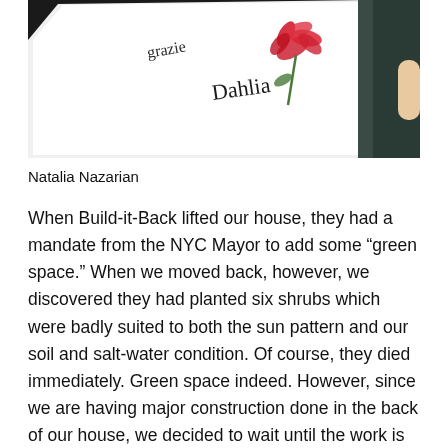[Figure (photo): A photograph of a white card or sketchbook with handwritten text including 'Dahlia' and other script text, alongside a watercolor painting of a red dahlia flower with green stem. The card is partially inside a dark-edged box. A hand is visible at the right edge.]
Natalia Nazarian
When Build-it-Back lifted our house, they had a mandate from the NYC Mayor to add some “green space.” When we moved back, however, we discovered they had planted six shrubs which were badly suited to both the sun pattern and our soil and salt-water condition. Of course, they died immediately. Green space indeed. However, since we are having major construction done in the back of our house, we decided to wait until the work is done to make ourselves a functional front garden. We reasoned that we didn’t want to spend weeks realizing our designs, only to have them trampled and otherwise compromised by the workers. Of course, we naïvely thought the work would be done by now. Nope. It’s all dragging on with no end in sight, and I finally decided I just couldn’t bear to come